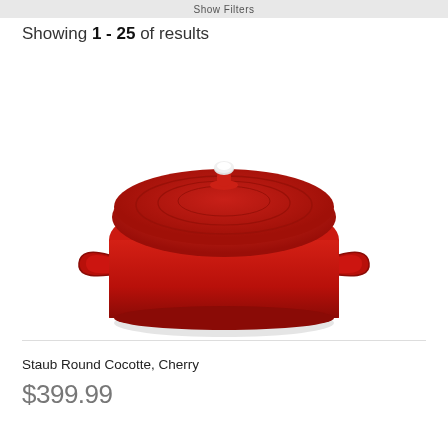Show Filters
Showing 1 - 25 of results
[Figure (photo): A red Staub Round Cocotte (Dutch oven) with lid, viewed from a slight angle above. The pot is cherry red enamel cast iron with two side handles and a silver knob on the lid. The lid has circular ridges. White background.]
Staub Round Cocotte, Cherry
$399.99